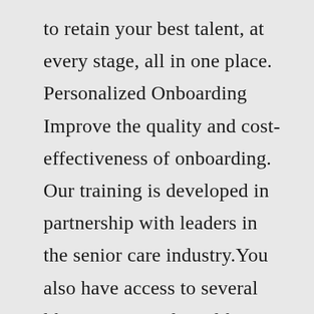to retain your best talent, at every stage, all in one place. Personalized Onboarding Improve the quality and cost-effectiveness of onboarding. Our training is developed in partnership with leaders in the senior care industry.You also have access to several libraries: Mental Health, Paraprofessionals, Developmental Disabilities and Recovery Oriented Training Resources. You can access the Relias Learning Management